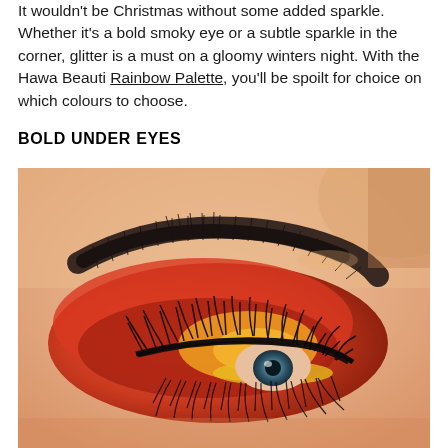It wouldn't be Christmas without some added sparkle. Whether it's a bold smoky eye or a subtle sparkle in the corner, glitter is a must on a gloomy winters night. With the Hawa Beauti Rainbow Palette, you'll be spoilt for choice on which colours to choose.
BOLD UNDER EYES
[Figure (photo): Close-up photograph of a person's eye with bold orange and red eyeshadow makeup, dramatic thick black false lashes on both upper and lower lids, and a well-defined dark brow with fine hairs.]